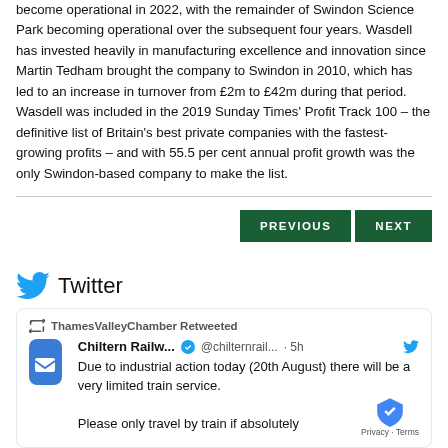become operational in 2022, with the remainder of Swindon Science Park becoming operational over the subsequent four years. Wasdell has invested heavily in manufacturing excellence and innovation since Martin Tedham brought the company to Swindon in 2010, which has led to an increase in turnover from £2m to £42m during that period. Wasdell was included in the 2019 Sunday Times' Profit Track 100 – the definitive list of Britain's best private companies with the fastest-growing profits – and with 55.5 per cent annual profit growth was the only Swindon-based company to make the list.
PREVIOUS | NEXT (navigation buttons)
Twitter
ThamesValleyChamber Retweeted
Chiltern Railw... @chilternrail... · 5h
Due to industrial action today (20th August) there will be a very limited train service.
Please only travel by train if absolutely